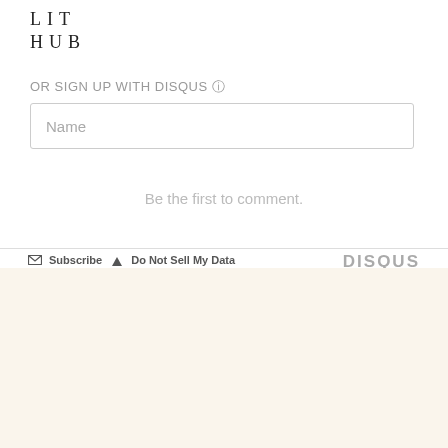LIT
HUB
OR SIGN UP WITH DISQUS
Name
Be the first to comment.
Subscribe  Do Not Sell My Data  DISQUS
The Best of the Literary Internet, Every Day.
Top literature stories from over 200 sources.
SUBSCRIBE